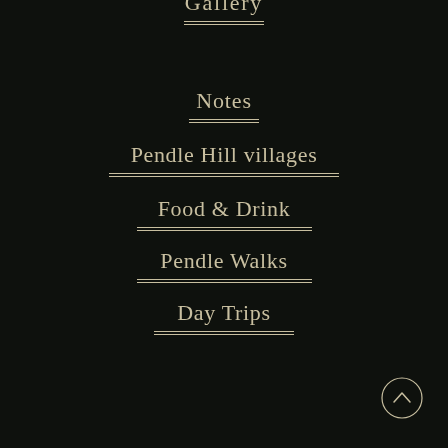Gallery
Notes
Pendle Hill villages
Food & Drink
Pendle Walks
Day Trips
[Figure (other): Scroll-to-top button: circle with upward chevron arrow]